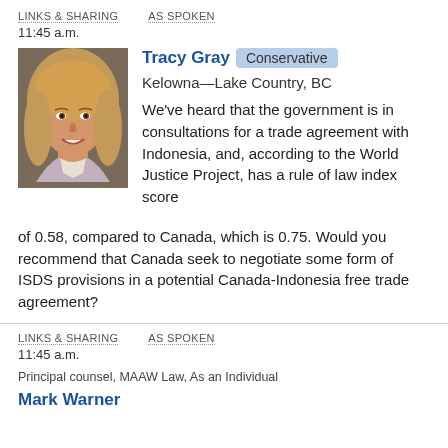LINKS & SHARING   AS SPOKEN
11:45 a.m.
[Figure (photo): Headshot photo of Tracy Gray, a woman with blonde hair, smiling]
Tracy Gray  Conservative  Kelowna—Lake Country, BC
We've heard that the government is in consultations for a trade agreement with Indonesia, and, according to the World Justice Project, has a rule of law index score of 0.58, compared to Canada, which is 0.75. Would you recommend that Canada seek to negotiate some form of ISDS provisions in a potential Canada-Indonesia free trade agreement?
LINKS & SHARING   AS SPOKEN
11:45 a.m.
Principal counsel, MAAW Law, As an Individual
Mark Warner